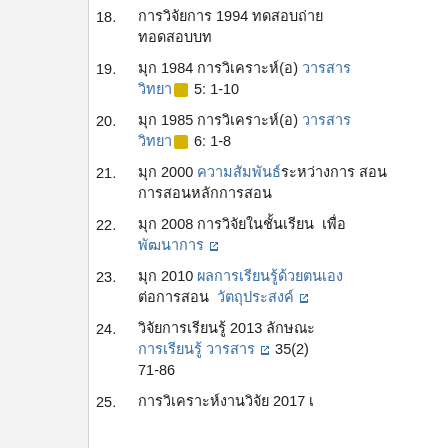18. [Thai text] 1994 [Thai text]
19. [Thai] 1984 [Thai](อ) [Thai link] 5: 1-10
20. [Thai] 1985 [Thai](อ) [Thai link] 6: 1-8
21. [Thai] 2000 [Thai link][Thai text] [Thai]
22. [Thai] 2008 [Thai text] [Thai link external]
23. [Thai] 2010 [Thai link text] [Thai] [Thai link external]
24. [Thai text] 2013 [Thai text] [Thai link] 35(2) 71-86
25. [Thai text] 2017 [Thai]